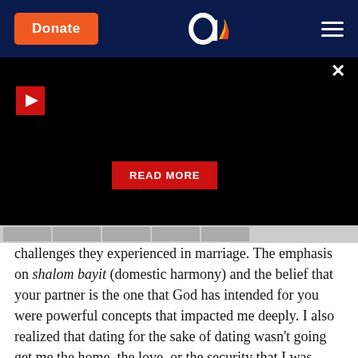Donate | [Aish logo] | [menu]
[Figure (screenshot): Dark video/media player area with a red play button in the top-left, a close (×) button in the top-right corner, and a red 'READ MORE' button in the lower center of the black area.]
challenges they experienced in marriage. The emphasis on shalom bayit (domestic harmony) and the belief that your partner is the one that God has intended for you were powerful concepts that impacted me deeply. I also realized that dating for the sake of dating wasn't going get me the home, the love, or the security that I was seeking. I needed to date with a purpose. I needed to find someone with similar goals and similar values. And I thank God every day that I finally found that person.